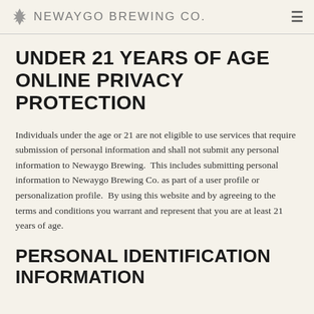Newaygo Brewing Co.
UNDER 21 YEARS OF AGE ONLINE PRIVACY PROTECTION
Individuals under the age or 21 are not eligible to use services that require submission of personal information and shall not submit any personal information to Newaygo Brewing.  This includes submitting personal information to Newaygo Brewing Co. as part of a user profile or personalization profile.  By using this website and by agreeing to the terms and conditions you warrant and represent that you are at least 21 years of age.
PERSONAL IDENTIFICATION INFORMATION